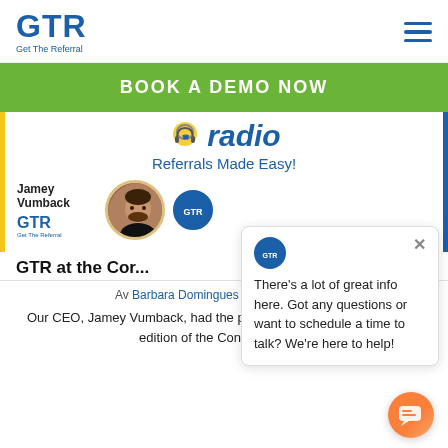[Figure (logo): GTR (Get The Referral) logo in blue with hamburger menu icon]
BOOK A DEMO NOW
[Figure (screenshot): Contractor Radio banner with headphones icon, 'radio' text in blue italic, and 'Referrals Made Easy!' tagline]
[Figure (photo): Photo of Jamey Vumback with GTR logo and person photo in circular frame]
There's a lot of great info here. Got any questions or want to schedule a time to talk? We're here to help!
GTR at the Cor...
Av Barbara Domingues • March 18, 2021
Our CEO, Jamey Vumback, had the pleasure to join Johnson for this edition of the Contractor Ra...